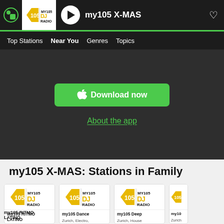my105 X-MAS
Top Stations  Near You  Genres  Topics
[Figure (screenshot): Download now button with Apple logo on green background, and About the app link below]
my105 X-MAS: Stations in Family
[Figure (other): my105 RITMO LATINO station card with MY105 DJ RADIO logo]
my105 RITMO LATINO
[Figure (other): my105 Dance station card with MY105 DJ RADIO logo]
my105 Dance
Zurich, Electro,
[Figure (other): my105 Deep station card with MY105 DJ RADIO logo]
my105 Deep
Zurich, House
[Figure (other): Partial my10 station card with MY105 DJ RADIO logo]
my10
Zurich